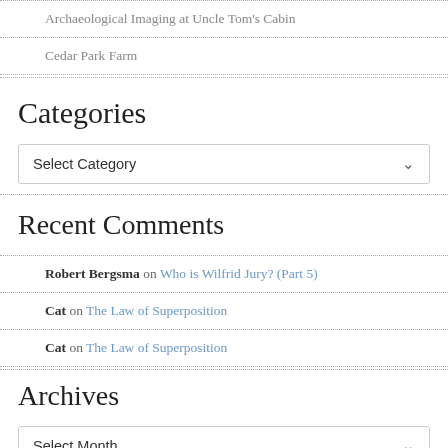Archaeological Imaging at Uncle Tom's Cabin
Cedar Park Farm
Categories
Select Category
Recent Comments
Robert Bergsma on Who is Wilfrid Jury? (Part 5)
Cat on The Law of Superposition
Cat on The Law of Superposition
Archives
Select Month